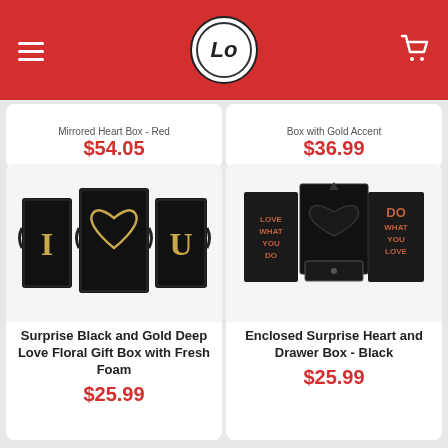LO store header with hamburger menu, logo, and cart icon
Mirrored Heart Box - Red $54.05
Box with Gold Accent $36.99
[Figure (photo): Surprise Black and Gold Deep Love Floral Gift Box with Fresh Foam - shows three black boxes spelling I ❤ U]
Surprise Black and Gold Deep Love Floral Gift Box with Fresh Foam
$25.99
[Figure (photo): Enclosed Surprise Heart and Drawer Box - Black - open box showing heart bowl and drawer compartment with motivational text]
Enclosed Surprise Heart and Drawer Box - Black
$25.99